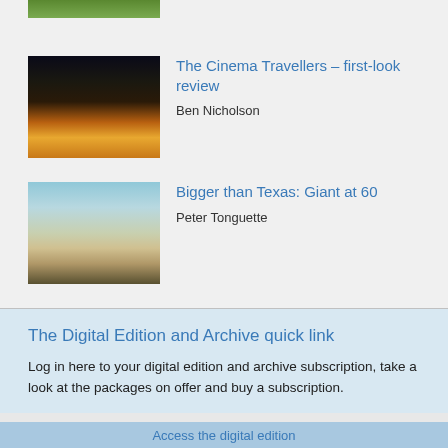[Figure (photo): Partial photo at top, greenery/nature scene cropped]
[Figure (photo): Cinema tent at night with glowing screen light]
The Cinema Travellers – first-look review
Ben Nicholson
[Figure (photo): Old vintage car in desert landscape with buildings on horizon]
Bigger than Texas: Giant at 60
Peter Tonguette
The Digital Edition and Archive quick link
Log in here to your digital edition and archive subscription, take a look at the packages on offer and buy a subscription.
Access the digital edition